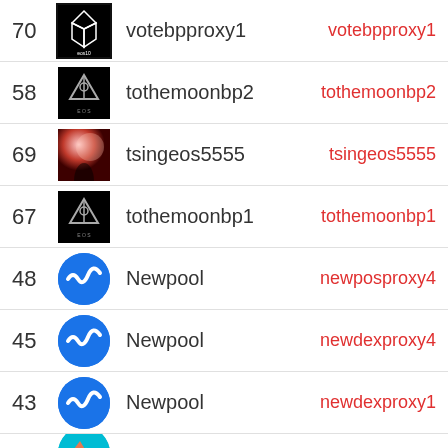| Rank | Logo | Name | Account |
| --- | --- | --- | --- |
| 70 | eosio logo | votebpproxy1 | votebpproxy1 |
| 58 | eos logo | tothemoonbp2 | tothemoonbp2 |
| 69 | tsingeos logo | tsingeos5555 | tsingeos5555 |
| 67 | eos logo | tothemoonbp1 | tothemoonbp1 |
| 48 | Newpool logo | Newpool | newposproxy4 |
| 45 | Newpool logo | Newpool | newdexproxy4 |
| 43 | Newpool logo | Newpool | newdexproxy1 |
| ? | teal logo |  |  |